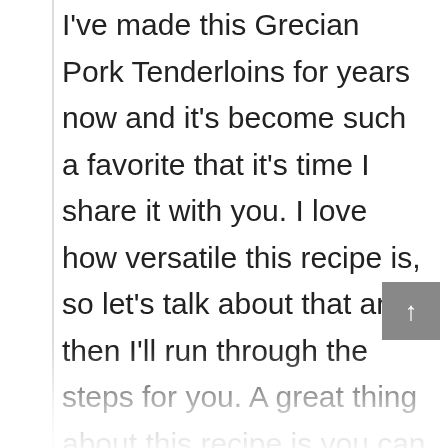I've made this Grecian Pork Tenderloins for years now and it's become such a favorite that it's time I share it with you. I love how versatile this recipe is, so let's talk about that and then I'll run through the steps for you. A great thing about this recipe is you can start the tenderloins in the marinade early and then after a day of work or a day of crazy whatever you just place the meat on a grill or in the oven for about 30 minutes and you have the most tender, impressive meat around. As for accompaniments, the sky's the limit but I love to serve it with some lemon rice, naan or flour tortillas, and fresh veggies and feta for a perfect Gyro-like meal. This method is especially great